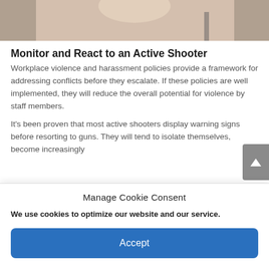[Figure (photo): Partial photo of a person, cropped at top of page]
Monitor and React to an Active Shooter
Workplace violence and harassment policies provide a framework for addressing conflicts before they escalate. If these policies are well implemented, they will reduce the overall potential for violence by staff members.
It’s been proven that most active shooters display warning signs before resorting to guns. They will tend to isolate themselves, become increasingly
Manage Cookie Consent
We use cookies to optimize our website and our service.
Accept